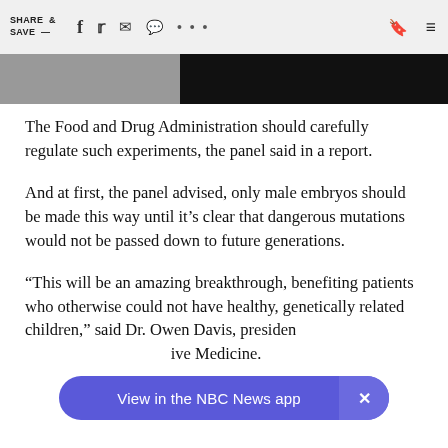SHARE & SAVE —
[Figure (photo): Partial image strip showing a grayscale photo on the left and dark/black area on the right]
The Food and Drug Administration should carefully regulate such experiments, the panel said in a report.
And at first, the panel advised, only male embryos should be made this way until it's clear that dangerous mutations would not be passed down to future generations.
“This will be an amazing breakthrough, benefiting patients who otherwise could not have healthy, genetically related children,” said Dr. Owen Davis, presiden[...] ive Medicine.
[Figure (screenshot): NBC News app banner overlay: 'View in the NBC News app' with close button]